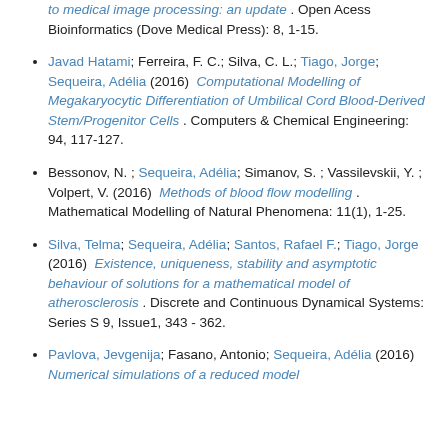(continuation) to medical image processing: an update. Open Acess Bioinformatics (Dove Medical Press): 8, 1-15.
Javad Hatami; Ferreira, F. C.; Silva, C. L.; Tiago, Jorge; Sequeira, Adélia (2016) Computational Modelling of Megakaryocytic Differentiation of Umbilical Cord Blood-Derived Stem/Progenitor Cells. Computers & Chemical Engineering: 94, 117-127.
Bessonov, N. ; Sequeira, Adélia; Simanov, S. ; Vassilevskii, Y. ; Volpert, V. (2016) Methods of blood flow modelling. Mathematical Modelling of Natural Phenomena: 11(1), 1-25.
Silva, Telma; Sequeira, Adélia; Santos, Rafael F.; Tiago, Jorge (2016) Existence, uniqueness, stability and asymptotic behaviour of solutions for a mathematical model of atherosclerosis. Discrete and Continuous Dynamical Systems: Series S 9, Issue1, 343 - 362.
Pavlova, Jevgenija; Fasano, Antonio; Sequeira, Adélia (2016) Numerical simulations of a reduced model...